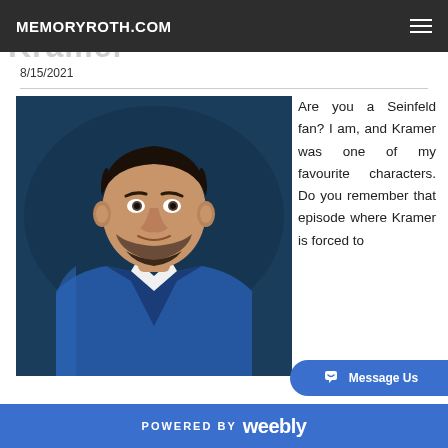MEMORYROTH.COM
8/15/2021
[Figure (photo): Oil painting portrait of a bearded man in a blue jacket with white collar shirt, against a dark blue background, resembling the Kramer character from Seinfeld]
Are you a Seinfeld fan? I am, and Kramer was one of my favourite characters. Do you remember that episode where Kramer is forced to
POWERED BY weebly